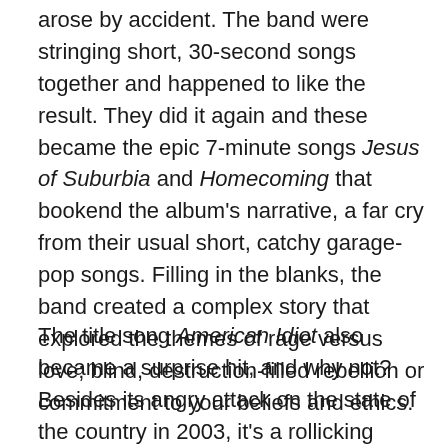arose by accident. The band were stringing short, 30-second songs together and happened to like the result. They did it again and these became the epic 7-minute songs Jesus of Suburbia and Homecoming that bookend the album's narrative, a far cry from their usual short, catchy garage-pop songs. Filling in the blanks, the band created a complex story that explored the themes of rage versus love; blind, destruction-filled rebellion or commitment to your beliefs and ethics.
The title song American Idiot also became a surprise hit, and why not? Besides its angry attack on the state of the country in 2003, it's a rollicking good rock song. Unlike their follow-up album, which packed in as many meaningless buzzwords as possible, the lyrics were a sharp criticism of the air of paranoia and propaganda that had followed 9/11. I didn't understand all of the lyrics when